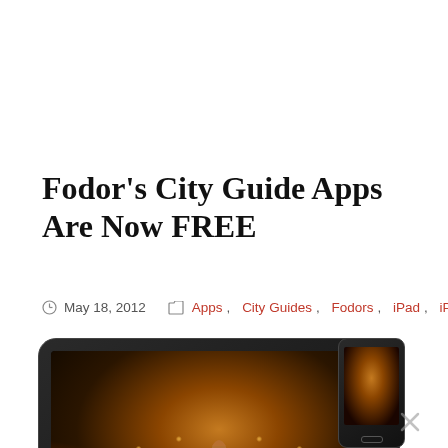Fodor's City Guide Apps Are Now FREE
May 18, 2012   Apps, City Guides, Fodors, iPad, iPhone
[Figure (photo): Tablet (iPad) and smartphone displaying a city travel guide app with an image of the Arc de Triomphe in Paris at night with light trails, and a reflection below the tablet.]